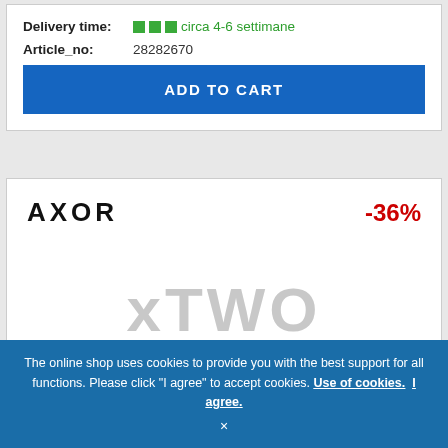Delivery time: ■■■ circa 4-6 settimane
Article_no: 28282670
ADD TO CART
[Figure (logo): AXOR brand logo in large bold letters]
-36%
[Figure (illustration): xTWO watermark text in light gray]
The online shop uses cookies to provide you with the best support for all functions. Please click "I agree" to accept cookies. Use of cookies. I agree.
×